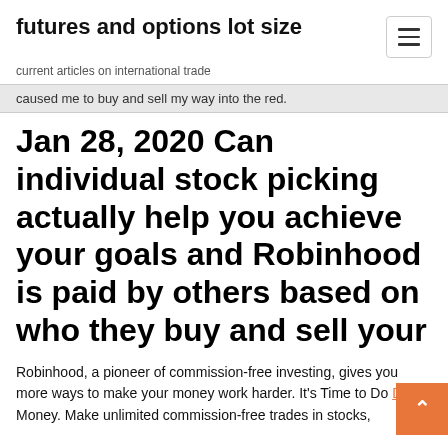futures and options lot size
current articles on international trade
caused me to buy and sell my way into the red.
Jan 28, 2020 Can individual stock picking actually help you achieve your goals and Robinhood is paid by others based on who they buy and sell your
Robinhood, a pioneer of commission-free investing, gives you more ways to make your money work harder. It's Time to Do Money. Make unlimited commission-free trades in stocks,